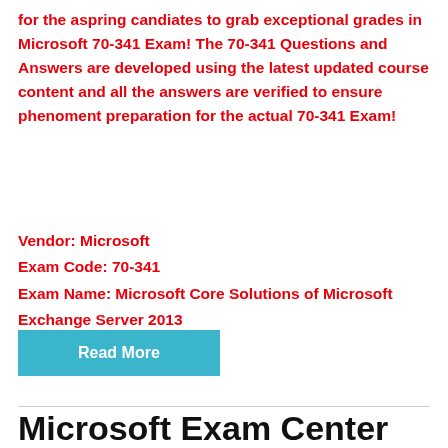for the aspring candiates to grab exceptional grades in Microsoft 70-341 Exam! The 70-341 Questions and Answers are developed using the latest updated course content and all the answers are verified to ensure phenoment preparation for the actual 70-341 Exam!
Vendor: Microsoft
Exam Code: 70-341
Exam Name: Microsoft Core Solutions of Microsoft Exchange Server 2013
Read More
Microsoft Exam Center